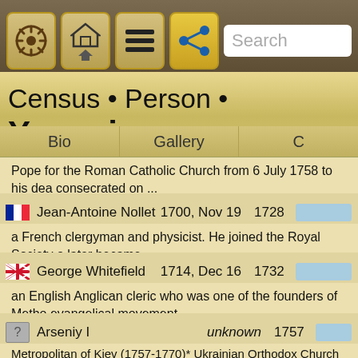[Figure (screenshot): Mobile app navigation bar with icons: ship wheel, home/up arrow, hamburger menu, share button, and Search field]
Census • Person • Yoannis
Bio    Gallery    C
Pope for the Roman Catholic Church from 6 July 1758 to his dea consecrated on ...
Jean-Antoine Nollet    1700, Nov 19    1728    [bar]
a French clergyman and physicist. He joined the Royal Society o later became ...
George Whitefield    1714, Dec 16    1732    [bar]
an English Anglican cleric who was one of the founders of Metho evangelical movement....
Arseniy I    unknown    1757    [bar]
Metropolitan of Kiev (1757-1770)* Ukrainian Orthodox Church
Gavriil I    unknown    1762    [bar]
Metropolitan of St. Petersburg (1762-1770)* Russian Orthodox C
Parthenios    unknown    1764    [bar]